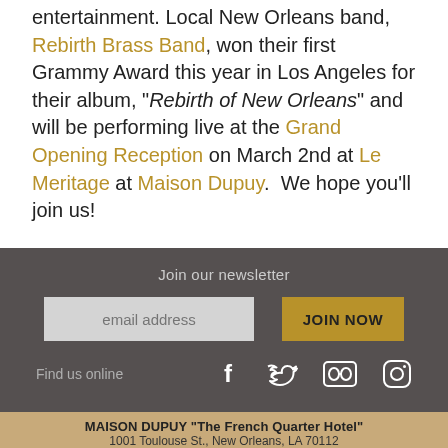entertainment. Local New Orleans band, Rebirth Brass Band, won their first Grammy Award this year in Los Angeles for their album, "Rebirth of New Orleans" and will be performing live at the Grand Opening Reception on March 2nd at Le Meritage at Maison Dupuy.  We hope you'll join us!
Join our newsletter
email address
JOIN NOW
Find us online
MAISON DUPUY "The French Quarter Hotel"
1001 Toulouse St., New Orleans, LA 70112